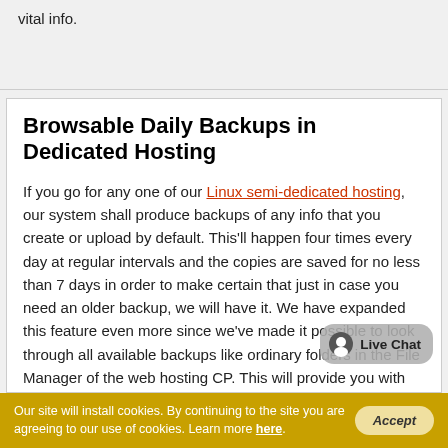vital info.
Browsable Daily Backups in Dedicated Hosting
If you go for any one of our Linux semi-dedicated hosting, our system shall produce backups of any info that you create or upload by default. This'll happen four times every day at regular intervals and the copies are saved for no less than 7 days in order to make certain that just in case you need an older backup, we will have it. We have expanded this feature even more since we've made it possible to look through all available backups like ordinary folders in the File Manager of the web hosting CP. This will provide you with more control over your websites considering that you are able to see when each of the
Our site will install cookies. By continuing to the site you are agreeing to our use of cookies. Learn more here.